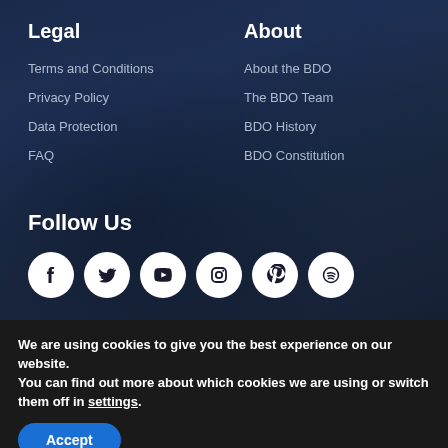Legal
Terms and Conditions
Privacy Policy
Data Protection
FAQ
About
About the BDO
The BDO Team
BDO History
BDO Constitution
Follow Us
[Figure (infographic): Six social media icons in white circles: Facebook, Twitter, YouTube, Instagram, Pinterest, Spotify]
We are using cookies to give you the best experience on our website.
You can find out more about which cookies we are using or switch them off in settings.
Accept